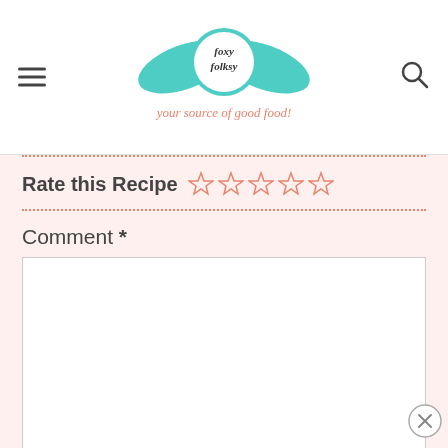Foxy Folksy — your source of good food!
Rate this Recipe ☆☆☆☆☆
Comment *